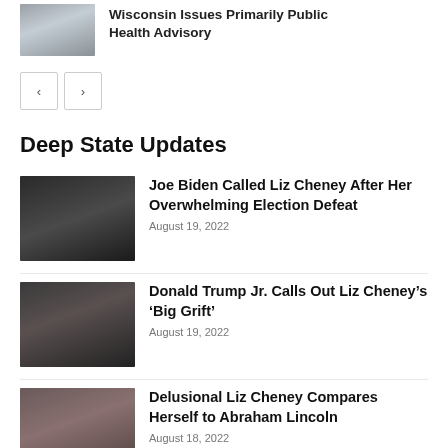[Figure (photo): Building with seal/plaque]
Wisconsin Issues Primarily Public Health Advisory
Deep State Updates
[Figure (photo): Joe Biden in dark suit]
Joe Biden Called Liz Cheney After Her Overwhelming Election Defeat
August 19, 2022
[Figure (photo): Donald Trump Jr. with woman in dark clothing]
Donald Trump Jr. Calls Out Liz Cheney’s ‘Big Grift’
August 19, 2022
[Figure (photo): Donald Trump waving]
Delusional Liz Cheney Compares Herself to Abraham Lincoln
August 18, 2022